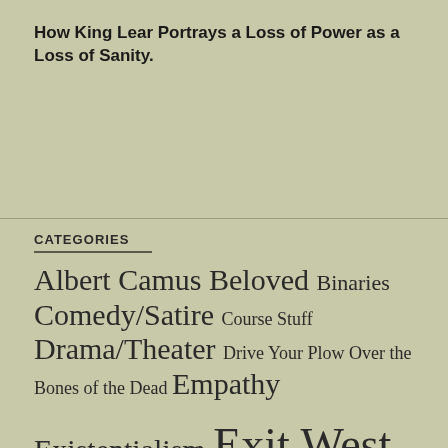How King Lear Portrays a Loss of Power as a Loss of Sanity.
CATEGORIES
Albert Camus
Beloved
Binaries
Comedy/Satire
Course Stuff
Drama/Theater
Drive Your Plow Over the Bones of the Dead
Empathy
Existentialism
Exit West